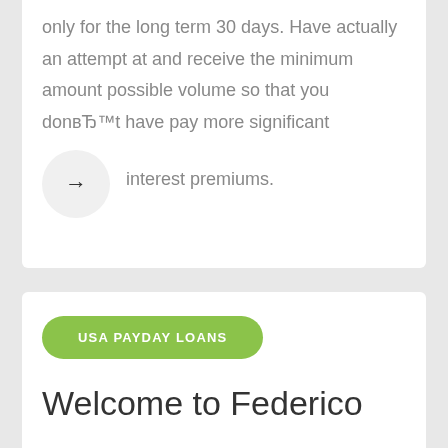only for the long term 30 days. Have actually an attempt at and receive the minimum amount possible volume so that you donвЂ™t have pay more significant interest premiums.
[Figure (other): A circular grey button with a right-pointing arrow icon]
USA PAYDAY LOANS
Welcome to Federico